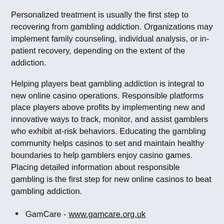Personalized treatment is usually the first step to recovering from gambling addiction. Organizations may implement family counseling, individual analysis, or in-patient recovery, depending on the extent of the addiction.
Helping players beat gambling addiction is integral to new online casino operations. Responsible platforms place players above profits by implementing new and innovative ways to track, monitor, and assist gamblers who exhibit at-risk behaviors. Educating the gambling community helps casinos to set and maintain healthy boundaries to help gamblers enjoy casino games. Placing detailed information about responsible gambling is the first step for new online casinos to beat gambling addiction.
GamCare - www.gamcare.org.uk
Gamble Aware - www.begambleaware.co.uk